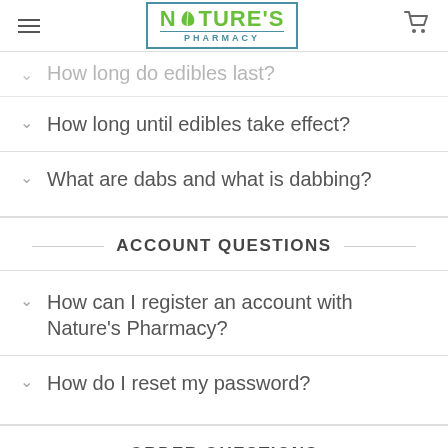Nature's Pharmacy
How long do edibles last?
How long until edibles take effect?
What are dabs and what is dabbing?
ACCOUNT QUESTIONS
How can I register an account with Nature's Pharmacy?
How do I reset my password?
ORDER QUESTIONS